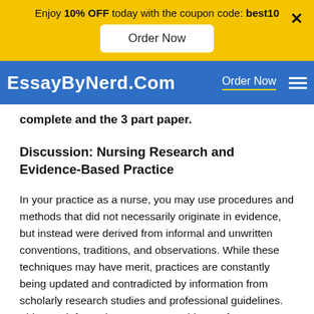Enjoy 10% OFF today with the coupon code: best10
Order Now
EssayByNerd.Com  Order Now
complete and the 3 part paper.
Discussion: Nursing Research and Evidence-Based Practice
In your practice as a nurse, you may use procedures and methods that did not necessarily originate in evidence, but instead were derived from informal and unwritten conventions, traditions, and observations. While these techniques may have merit, practices are constantly being updated and contradicted by information from scholarly research studies and professional guidelines. This new information serves as “evidence” for